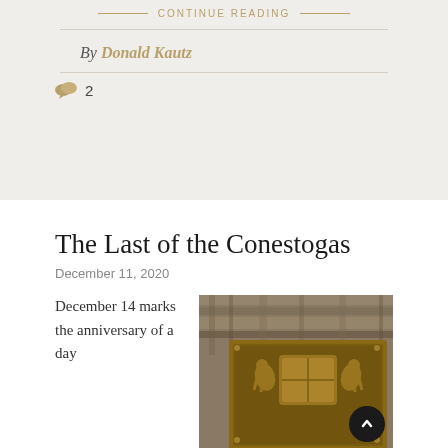— CONTINUE READING —
By Donald Kautz
💬 2
The Last of the Conestogas
December 11, 2020
December 14 marks the anniversary of a day
[Figure (photo): A bronze commemorative plaque mounted on a rough stone or bark surface, featuring a coat of arms with two rearing horses flanking a shield.]